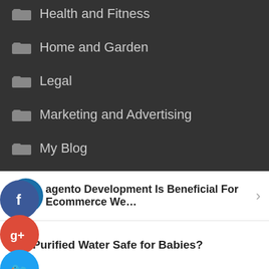Health and Fitness
Home and Garden
Legal
Marketing and Advertising
My Blog
Pets
Politics & Society
Technology and Gadgets
Travel and Leisure
Magento Development Is Beneficial For Ecommerce We...
Is Purified Water Safe for Babies?